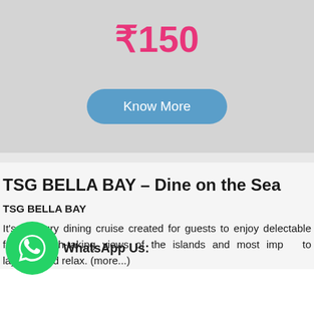₹150
Know More
TSG BELLA BAY – Dine on the Sea
TSG BELLA BAY
It's a luxury dining cruise created for guests to enjoy delectable food. Breath-taking views of the islands and most imp... to layback and relax. (more...)
WhatsApp Us: